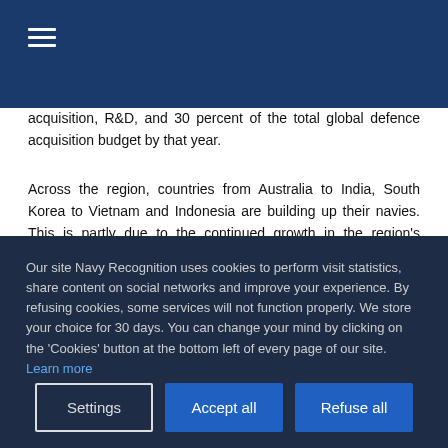☰
acquisition, R&D, and 30 percent of the total global defence acquisition budget by that year.
Across the region, countries from Australia to India, South Korea to Vietnam and Indonesia are building up their navies. This is partly due to the continued growth in the region's maritime commerce, already worth US$5 trillion annually3, and partly in response to China's fast expanding
Our site Navy Recognition uses cookies to perform visit statistics, share content on social networks and improve your experience. By refusing cookies, some services will not function properly. We store your choice for 30 days. You can change your mind by clicking on the 'Cookies' button at the bottom left of every page of our site. Learn more
Settings
Accept all
Refuse all